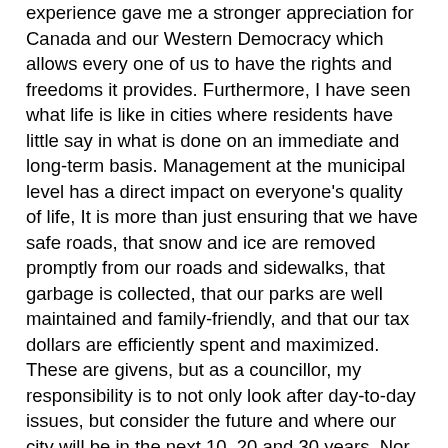experience gave me a stronger appreciation for Canada and our Western Democracy which allows every one of us to have the rights and freedoms it provides. Furthermore, I have seen what life is like in cities where residents have little say in what is done on an immediate and long-term basis. Management at the municipal level has a direct impact on everyone's quality of life, It is more than just ensuring that we have safe roads, that snow and ice are removed promptly from our roads and sidewalks, that garbage is collected, that our parks are well maintained and family-friendly, and that our tax dollars are efficiently spent and maximized. These are givens, but as a councillor, my responsibility is to not only look after day-to-day issues, but consider the future and where our city will be in the next 10, 20 and 30 years. Nor can I and council make such decisions alone – they require the consent of the citizens and their participation in the decision-making process. If I have the honor of being elected, public consultation is a key component of my